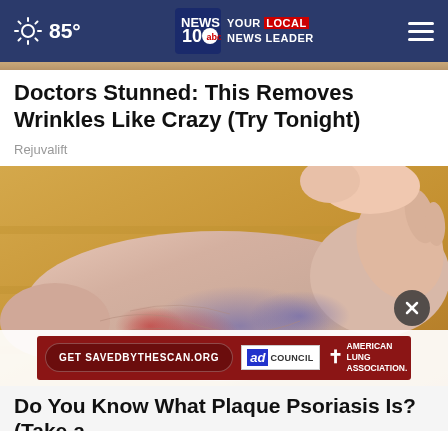85° NEWS10 YOUR LOCAL NEWS LEADER
Doctors Stunned: This Removes Wrinkles Like Crazy (Try Tonight)
Rejuvalift
[Figure (photo): Close-up photo of a foot and ankle showing skin with redness and discoloration, possibly depicting psoriasis or a skin condition, with a hand touching the heel area. Background is a wooden surface.]
[Figure (infographic): Ad banner: red background with button 'Get SAVEDBYTHESCAN.ORG', Ad Council logo, and American Lung Association logo with cross symbol.]
Do You Know What Plaque Psoriasis Is? (Take a